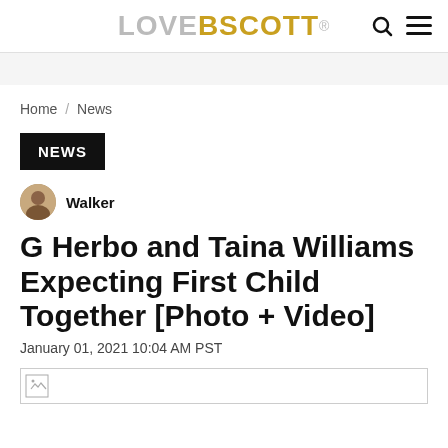LOVEBSCOTT®
Home / News
NEWS
Walker
G Herbo and Taina Williams Expecting First Child Together [Photo + Video]
January 01, 2021 10:04 AM PST
[Figure (photo): Broken image placeholder at bottom of article]